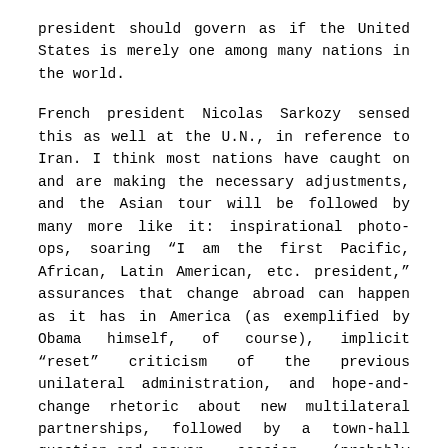president should govern as if the United States is merely one among many nations in the world.
French president Nicolas Sarkozy sensed this as well at the U.N., in reference to Iran. I think most nations have caught on and are making the necessary adjustments, and the Asian tour will be followed by many more like it: inspirational photo-ops, soaring “I am the first Pacific, African, Latin American, etc. president,” assurances that change abroad can happen as it has in America (as exemplified by Obama himself, of course), implicit “reset” criticism of the previous unilateral administration, and hope-and-change rhetoric about new multilateral partnerships, followed by a town-hall question-and-answer session (probably censored).
So again, why the unease with Obama’s trip?
From the trivial expressions like bowing to the more fundamental one of deferring to the Chinese Communist leadership, Obama is merely establishing the outlines of the promised new foreign policy.